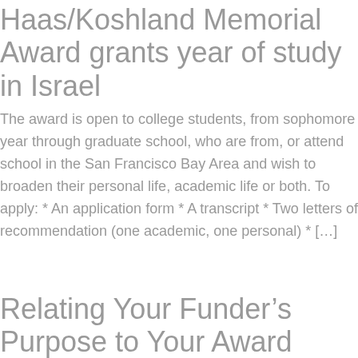Haas/Koshland Memorial Award grants year of study in Israel
The award is open to college students, from sophomore year through graduate school, who are from, or attend school in the San Francisco Bay Area and wish to broaden their personal life, academic life or both. To apply: * An application form * A transcript * Two letters of recommendation (one academic, one personal) * […]
Relating Your Funder’s Purpose to Your Award Application
Posted on June 17, 2014 by Ben Arenger